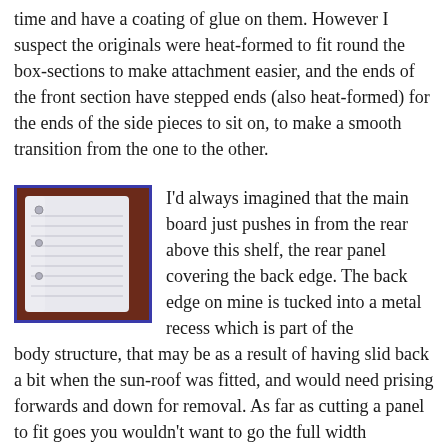time and have a coating of glue on them. However I suspect the originals were heat-formed to fit round the box-sections to make attachment easier, and the ends of the front section have stepped ends (also heat-formed) for the ends of the side pieces to sit on, to make a smooth transition from the one to the other.
[Figure (photo): A photograph of a white/translucent rectangular panel component with a blue/dark border, showing horizontal lines/ridges on its surface, against a dark reddish-brown background.]
I'd always imagined that the main board just pushes in from the rear above this shelf, the rear panel covering the back edge. The back edge on mine is tucked into a metal recess which is part of the body structure, that may be as a result of having slid back a bit when the sun-roof was fitted, and would need prising forwards and down for removal. As far as cutting a panel to fit goes you wouldn't want to go the full width available above the shelf as I felt various protrusions i.e. reductions in width at various points. Neither would you want to cover less than half the width of the shelf, because if the panel moved over in use it could leave a visible gap, so maybe covering 2/3 or 3/4 of the shelf is the answer. The